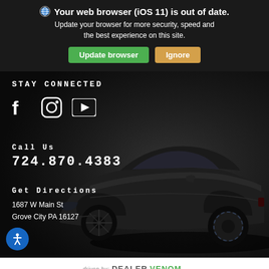🌐 Your web browser (iOS 11) is out of date. Update your browser for more security, speed and the best experience on this site.
Stay Connected
[Figure (illustration): Social media icons: Facebook, Instagram, YouTube on dark car background]
Call Us
724.870.4383
Get Directions
1687 W Main St
Grove City PA 16127
driven by: DEALERVENOM.